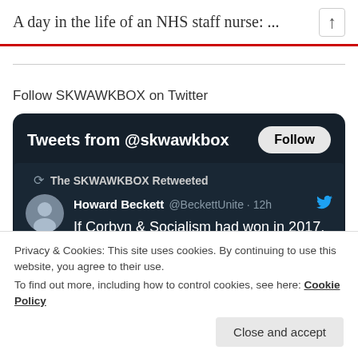A day in the life of an NHS staff nurse: ...
Follow SKWAWKBOX on Twitter
[Figure (screenshot): Twitter widget showing tweets from @skwawkbox with a Follow button. Contains a retweet by The SKWAWKBOX Retweeted from Howard Beckett @BeckettUnite · 12h: If Corbyn & Socialism had won in 2017, CEO pay would be linked to workers pay. Rail, Energy, Royal Mail, NHS & Banks would be]
Privacy & Cookies: This site uses cookies. By continuing to use this website, you agree to their use.
To find out more, including how to control cookies, see here: Cookie Policy
Close and accept
Keep fighting, no stepping back.